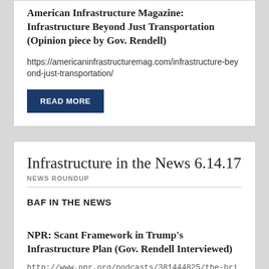American Infrastructure Magazine: Infrastructure Beyond Just Transportation (Opinion piece by Gov. Rendell)
https://americaninfrastructuremag.com/infrastructure-beyond-just-transportation/
READ MORE
Infrastructure in the News 6.14.17
NEWS ROUNDUP
BAF IN THE NEWS
NPR: Scant Framework in Trump's Infrastructure Plan (Gov. Rendell Interviewed)
http://www.npr.org/podcasts/381444825/the-brian-lehrer-show/partials?start=placeholder